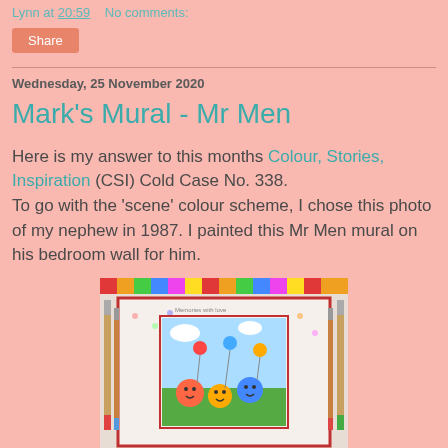Lynn at 20:59    No comments:
Share
Wednesday, 25 November 2020
Mark's Mural - Mr Men
Here is my answer to this months Colour, Stories, Inspiration (CSI) Cold Case No. 338.
To go with the 'scene' colour scheme, I chose this photo of my nephew in 1987. I painted this Mr Men mural on his bedroom wall for him.
[Figure (photo): A scrapbook card featuring a photo of Mr Men characters painted on a wall, surrounded by paintbrush decorations and colorful striped border.]